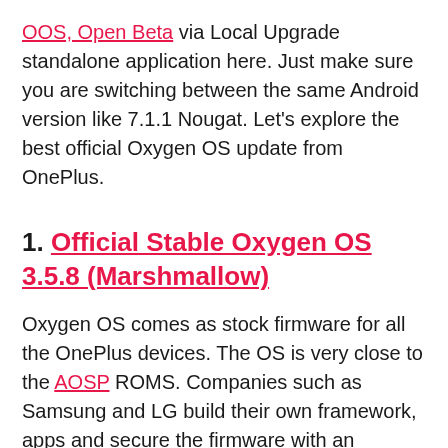OOS, Open Beta via Local Upgrade standalone application here. Just make sure you are switching between the same Android version like 7.1.1 Nougat. Let's explore the best official Oxygen OS update from OnePlus.
1. Official Stable Oxygen OS 3.5.8 (Marshmallow)
Oxygen OS comes as stock firmware for all the OnePlus devices. The OS is very close to the AOSP ROMS. Companies such as Samsung and LG build their own framework, apps and secure the firmware with an exclusive format. Samsung firmware comes in .tar format, LG in .KDZ, Sony in .FTF, and much